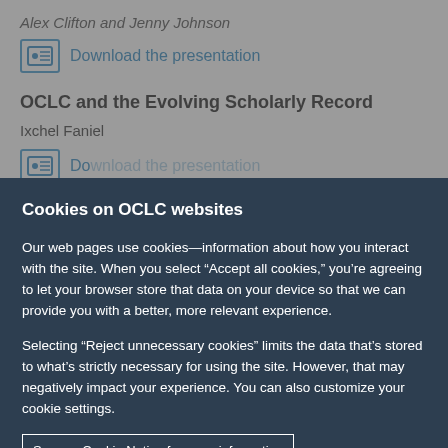Alex Clifton and Jenny Johnson
Download the presentation
OCLC and the Evolving Scholarly Record
Ixchel Faniel
Download the presentation
Cookies on OCLC websites
Our web pages use cookies—information about how you interact with the site. When you select “Accept all cookies,” you’re agreeing to let your browser store that data on your device so that we can provide you with a better, more relevant experience.
Selecting “Reject unnecessary cookies” limits the data that’s stored to what’s strictly necessary for using the site. However, that may negatively impact your experience. You can also customize your cookie settings.
See our Cookie Notice for more information